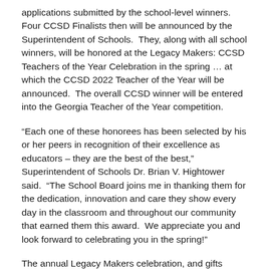applications submitted by the school-level winners.  Four CCSD Finalists then will be announced by the Superintendent of Schools.  They, along with all school winners, will be honored at the Legacy Makers: CCSD Teachers of the Year Celebration in the spring … at which the CCSD 2022 Teacher of the Year will be announced.  The overall CCSD winner will be entered into the Georgia Teacher of the Year competition.
“Each one of these honorees has been selected by his or her peers in recognition of their excellence as educators – they are the best of the best,” Superintendent of Schools Dr. Brian V. Hightower said.  “The School Board joins me in thanking them for the dedication, innovation and care they show every day in the classroom and throughout our community that earned them this award.  We appreciate you and look forward to celebrating you in the spring!”
The annual Legacy Makers celebration, and gifts presented to the honorees, are sponsored by Presenting Sponsors: Cherokee County Educational Foundation, Credit Union of Georgia, Northside Hospital Cherokee and Shottenkirk Chrysler, Dodge, Jeep and Ram of Canton.  Additional financial and in-kind sponsorship opportunities are available; interested